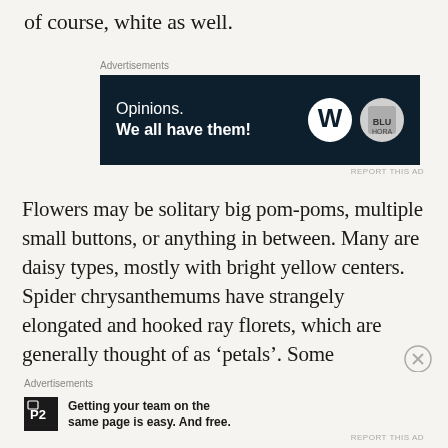of course, white as well.
[Figure (screenshot): Advertisement banner with dark navy background showing 'Opinions. We all have them!' with WordPress and another logo icon.]
Flowers may be solitary big pom-poms, multiple small buttons, or anything in between. Many are daisy types, mostly with bright yellow centers. Spider chrysanthemums have strangely elongated and hooked ray florets, which are generally thought of as ‘petals’. Some chrysanthemums that would otherwise bloom with many small flowers can be
[Figure (screenshot): Advertisement for P2 showing logo and text: Getting your team on the same page is easy. And free.]